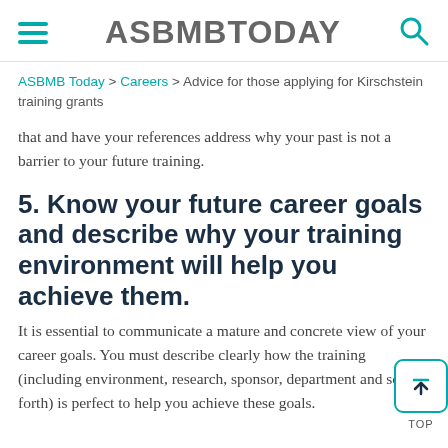ASBMBTODAY
ASBMB Today > Careers > Advice for those applying for Kirschstein training grants
that and have your references address why your past is not a barrier to your future training.
5. Know your future career goals and describe why your training environment will help you achieve them.
It is essential to communicate a mature and concrete view of your career goals. You must describe clearly how the training (including environment, research, sponsor, department and so forth) is perfect to help you achieve these goals.